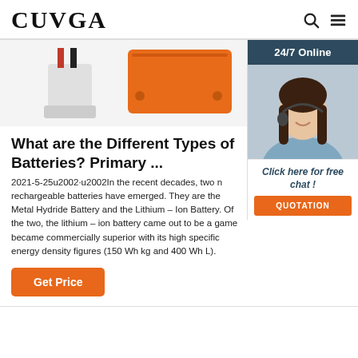CUVGA
[Figure (photo): Product images: battery connector on left, orange rectangular battery pack in center]
[Figure (photo): Customer support representative with headset, 24/7 Online sidebar banner with chat and quotation button]
What are the Different Types of Batteries? Primary ...
2021-5-25u2002·u2002In the recent decades, two rechargeable batteries have emerged. They are the Metal Hydride Battery and the Lithium – Ion Battery. Of the two, the lithium – ion battery came out to be a game and became commercially superior with its high specific energy density figures (150 Wh kg and 400 Wh L).
Get Price